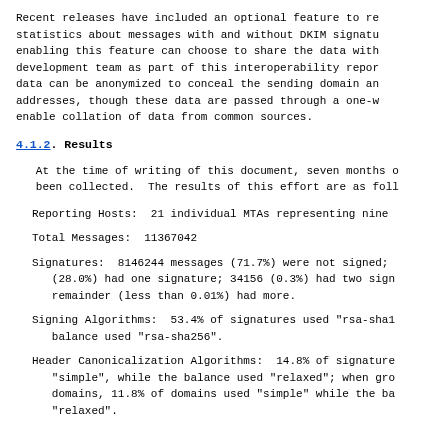Recent releases have included an optional feature to re statistics about messages with and without DKIM signatu enabling this feature can choose to share the data with development team as part of this interoperability repor data can be anonymized to conceal the sending domain an addresses, though these data are passed through a one-w enable collation of data from common sources.
4.1.2. Results
At the time of writing of this document, seven months o been collected.  The results of this effort are as foll
Reporting Hosts:  21 individual MTAs representing nine
Total Messages:  11367042
Signatures:  8146244 messages (71.7%) were not signed; (28.0%) had one signature; 34156 (0.3%) had two sign remainder (less than 0.01%) had more.
Signing Algorithms:  53.4% of signatures used "rsa-sha1 balance used "rsa-sha256".
Header Canonicalization Algorithms:  14.8% of signature "simple", while the balance used "relaxed"; when gro domains, 11.8% of domains used "simple" while the ba "relaxed".